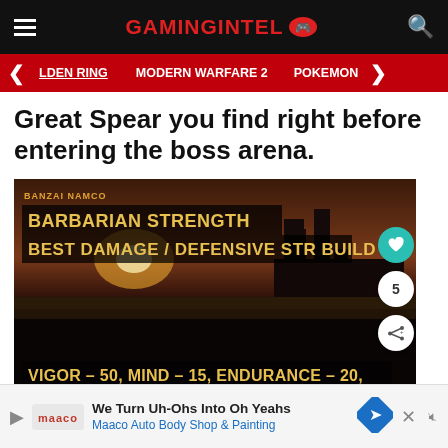GAMINGINTEL
ELDEN RING   MODERN WARFARE 2   POKEMON
Great Spear you find right before entering the boss arena.
[Figure (screenshot): Video thumbnail showing Barbarian Strength Best Damage / Defensive STR Build in Elden Ring with text overlay: VIGOR – 50, MIND – 15, ENDURANCE – 20,]
We Turn Uh-Ohs Into Oh Yeahs Maaco Auto Body Shop & Painting